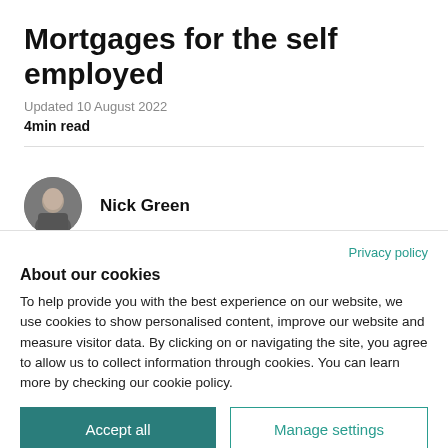Mortgages for the self employed
Updated 10 August 2022
4min read
Nick Green
Privacy policy
About our cookies
To help provide you with the best experience on our website, we use cookies to show personalised content, improve our website and measure visitor data. By clicking on or navigating the site, you agree to allow us to collect information through cookies. You can learn more by checking our cookie policy.
Accept all
Manage settings